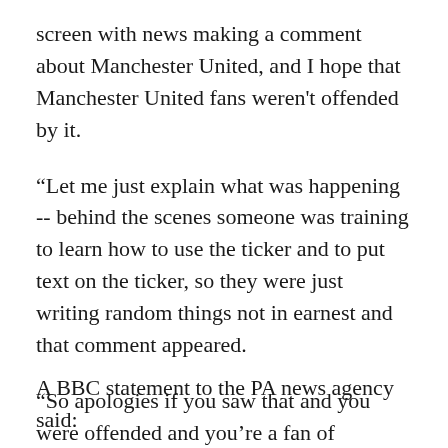screen with news making a comment about Manchester United, and I hope that Manchester United fans weren't offended by it.
“Let me just explain what was happening -- behind the scenes someone was training to learn how to use the ticker and to put text on the ticker, so they were just writing random things not in earnest and that comment appeared.
“So apologies if you saw that and you were offended and you’re a fan of Manchester United.”
A BBC statement to the PA news agency said: